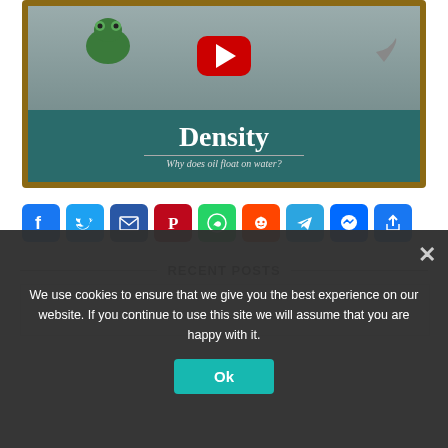[Figure (screenshot): YouTube video thumbnail showing chalkboard with 'Density – Why does oil float on water?' and a play button. A cartoon frog character is visible on the chalkboard background.]
[Figure (infographic): Row of social media sharing icons: Facebook, Twitter, Email, Pinterest, WhatsApp, Reddit, Telegram, Messenger, Share]
RECENT POSTS
We use cookies to ensure that we give you the best experience on our website. If you continue to use this site we will assume that you are happy with it.